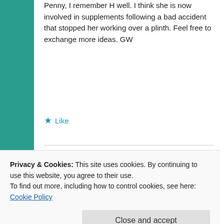Penny, I remember H well. I think she is now involved in supplements following a bad accident that stopped her working over a plinth. Feel free to exchange more ideas. GW
Like
osteofm
March 11, 2016 at 11:17 pm
Thanks v much Greg.
Privacy & Cookies: This site uses cookies. By continuing to use this website, you agree to their use.
To find out more, including how to control cookies, see here: Cookie Policy
Close and accept